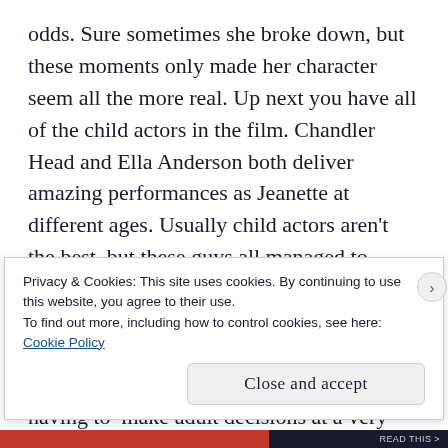odds. Sure sometimes she broke down, but these moments only made her character seem all the more real. Up next you have all of the child actors in the film. Chandler Head and Ella Anderson both deliver amazing performances as Jeanette at different ages. Usually child actors aren't the best, but these guys all managed to deliver performances that conveyed very complex emotions. It was amazing seeing Jeanette grow up and realize that all of the shit around her wasn't normal, and actually having to  make adult decisions at a very young age. Of course you also have
Privacy & Cookies: This site uses cookies. By continuing to use this website, you agree to their use.
To find out more, including how to control cookies, see here:
Cookie Policy
Close and accept